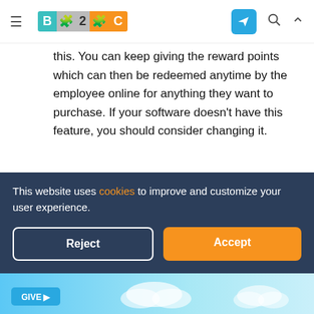B2C (logo) with navigation icons
this. You can keep giving the reward points which can then be redeemed anytime by the employee online for anything they want to purchase. If your software doesn't have this feature, you should consider changing it.
All in all, HRMS software can prove to be a great catalyst in keeping your employees happy even when you don't get to see them in person. So, make sure the managers of every team follow the aforementioned steps and keep the
This website uses cookies to improve and customize your user experience.
Reject
Accept